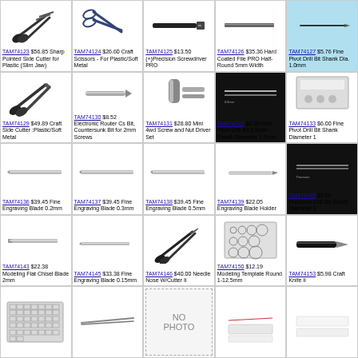TAM74123 $56.85 Sharp Pointed Side Cutter for Plastic (Slim Jaw)
TAM74124 $26.60 Craft Scissors - For Plastic/Soft Metal
TAM74125 $13.50 (+)Precision Screwdriver PRO
TAM74126 $35.36 Hard Coated File PRO Half-Round 5mm Width
TAM74127 $5.76 Fine Pivot Drill Bit Shank Dia. 1.0mm
TAM74129 $49.89 Craft Side Cutter :Plastic/Soft Metal
TAM74130 $8.52 Electronic Router Cs Bit, Countersunk Bit for 2mm Screws
TAM74131 $28.80 Mini 4wd Screw and Nut Driver Set
TAM74132 $6.00 Fine Pivot Drill Bit 0.8mm - Shank Diameter 1.5mm
TAM74133 $6.00 Fine Pivot Drill Bit Shank Diameter 1
TAM74136 $39.45 Fine Engraving Blade 0.2mm
TAM74137 $39.45 Fine Engraving Blade 0.3mm
TAM74138 $39.45 Fine Engraving Blade 0.5mm
TAM74139 $22.05 Engraving Blade Holder
TAM74140 $3.86 Precision Drill Bit (Shaft Diameter 1
TAM74143 $22.38 Modeling Flat Chisel Blade 2mm
TAM74145 $33.38 Fine Engraving Blade 0.15mm
TAM74146 $40.00 Needle Nose W/Cutter Ii
TAM74150 $12.19 Modeling Template Round 1-12.5mm
TAM74153 $5.98 Craft Knife Ii
[Figure (photo): Modeling template grid]
[Figure (photo): Long pliers tool]
[Figure (other): No photo placeholder]
[Figure (photo): Eraser/flat piece]
[Figure (photo): White rectangular piece]